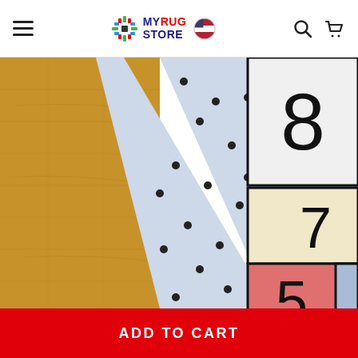MyRug Store
[Figure (photo): Close-up photo of a colorful children's hopscotch rug with numbers 5, 7, 8 printed in large black font on colored squares (white, cream/yellow, pink/red, light blue), with a polka-dot pattern section and wood-look flooring visible underneath the rug edge.]
ADD TO CART